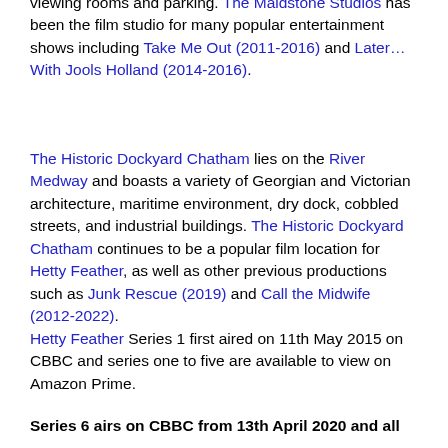viewing rooms and parking. The Maidstone Studios has been the film studio for many popular entertainment shows including Take Me Out (2011-2016) and Later…With Jools Holland (2014-2016).
The Historic Dockyard Chatham lies on the River Medway and boasts a variety of Georgian and Victorian architecture, maritime environment, dry dock, cobbled streets, and industrial buildings. The Historic Dockyard Chatham continues to be a popular film location for Hetty Feather, as well as other previous productions such as Junk Rescue (2019) and Call the Midwife (2012-2022).
Hetty Feather Series 1 first aired on 11th May 2015 on CBBC and series one to five are available to view on Amazon Prime.
Series 6 airs on CBBC from 13th April 2020 and all